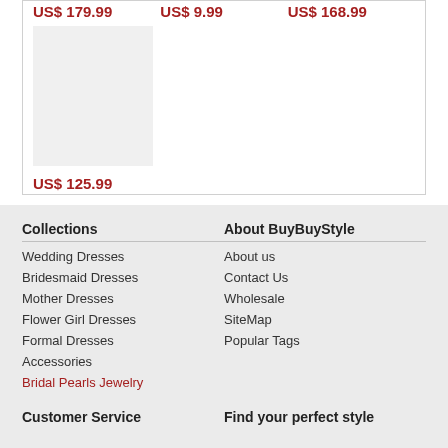US$ 179.99
US$ 9.99
US$ 168.99
[Figure (photo): Product image placeholder (light gray square)]
US$ 125.99
Collections
Wedding Dresses
Bridesmaid Dresses
Mother Dresses
Flower Girl Dresses
Formal Dresses
Accessories
Bridal Pearls Jewelry
About BuyBuyStyle
About us
Contact Us
Wholesale
SiteMap
Popular Tags
Customer Service
Find your perfect style